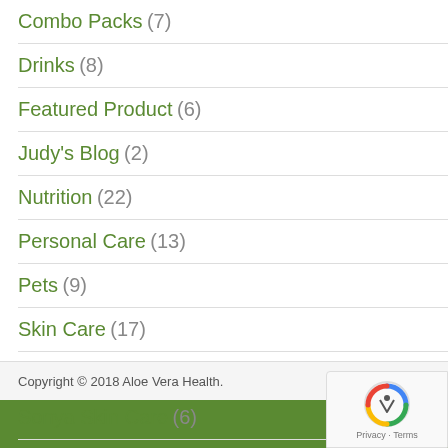Combo Packs (7)
Drinks (8)
Featured Product (6)
Judy's Blog (2)
Nutrition (22)
Personal Care (13)
Pets (9)
Skin Care (17)
Sonya Cosmetics (1)
Sonya Skin Care (6)
Weight Loss (8)
Copyright © 2018 Aloe Vera Health.